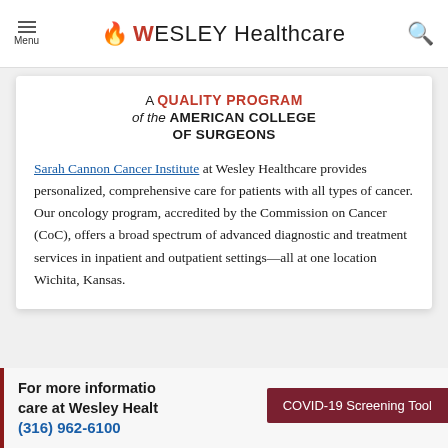Menu | Wesley Healthcare | Search
A QUALITY PROGRAM of the AMERICAN COLLEGE OF SURGEONS
Sarah Cannon Cancer Institute at Wesley Healthcare provides personalized, comprehensive care for patients with all types of cancer. Our oncology program, accredited by the Commission on Cancer (CoC), offers a broad spectrum of advanced diagnostic and treatment services in inpatient and outpatient settings—all at one location Wichita, Kansas.
For more information about cancer care at Wesley Healthcare, please call
(316) 962-6100
[Figure (infographic): COVID-19 Screening Tool button overlay in dark red]